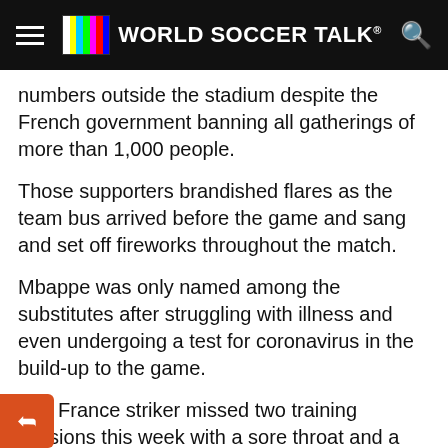WORLD SOCCER TALK
numbers outside the stadium despite the French government banning all gatherings of more than 1,000 people.
Those supporters brandished flares as the team bus arrived before the game and sang and set off fireworks throughout the match.
Mbappe was only named among the substitutes after struggling with illness and even undergoing a test for coronavirus in the build-up to the game.
The France striker missed two training sessions this week with a sore throat and a fever. His test for COVID-19 came up negative.